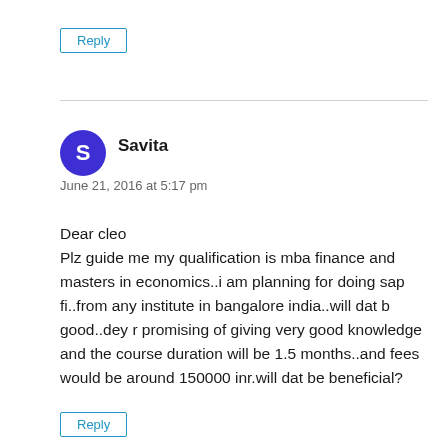Reply
Savita
June 21, 2016 at 5:17 pm
Dear cleo
Plz guide me my qualification is mba finance and masters in economics..i am planning for doing sap fi..from any institute in bangalore india..will dat b good..dey r promising of giving very good knowledge and the course duration will be 1.5 months..and fees would be around 150000 inr.will dat be beneficial?
Reply